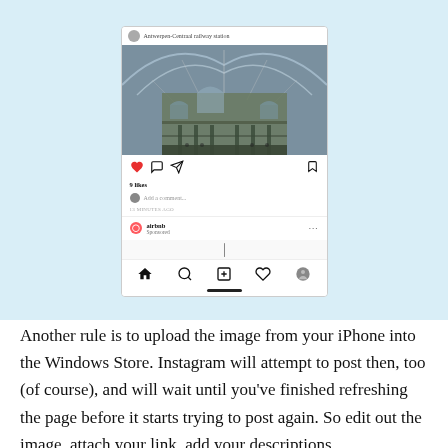[Figure (screenshot): Instagram app screenshot showing a photo of Antwerpen-Centraal railway station interior with arched glass ceiling and ornate facade. Below the photo are action buttons (heart, comment, share, save), '9 likes', a comment box, time stamp '13 MINUTES AGO', and an airbnb Sponsored post row. At the bottom is the Instagram navigation bar with home, search, plus, heart, and profile icons.]
Another rule is to upload the image from your iPhone into the Windows Store. Instagram will attempt to post then, too (of course), and will wait until you've finished refreshing the page before it starts trying to post again. So edit out the image, attach your link, add your descriptions